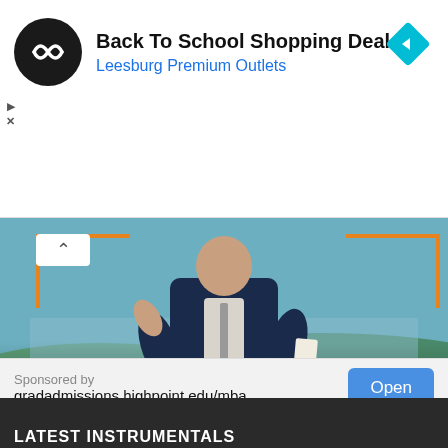[Figure (infographic): Advertisement banner for 'Back To School Shopping Deals' by Leesburg Premium Outlets. Black circular logo with infinity-like symbol on left, bold text title, blue subtitle, cyan diamond navigation icon on right, play and X controls below logo.]
[Figure (photo): University advertisement showing a man in a dark suit speaking/gesturing, holding papers, standing in front of a landscape backdrop. Orange corner bracket decorations. Orange 'LEARN MORE' button. Purple background with 'HIGH POINT UNIVERSITY' in white serif text.]
Sponsored by
gradadmissions.highpoint.edu/mba
Open
LATEST INSTRUMENTALS